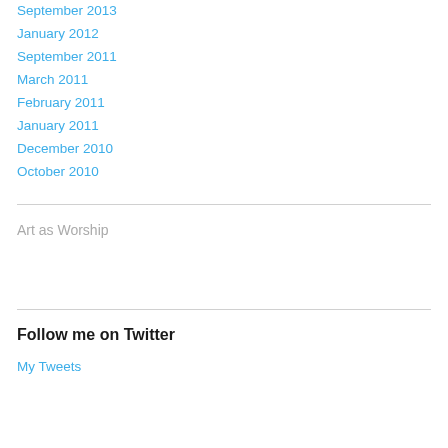September 2013
January 2012
September 2011
March 2011
February 2011
January 2011
December 2010
October 2010
Art as Worship
Follow me on Twitter
My Tweets